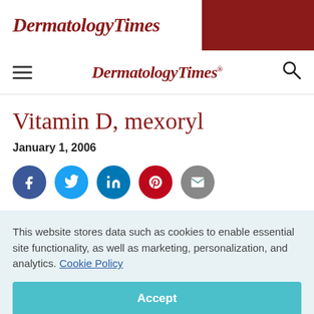DermatologyTimes
DermatologyTimes
Vitamin D, mexoryl
January 1, 2006
[Figure (infographic): Row of five social sharing icons: Facebook (dark blue), Twitter (light blue), LinkedIn (blue), Pinterest (red), Email (gray)]
This website stores data such as cookies to enable essential site functionality, as well as marketing, personalization, and analytics. Cookie Policy
Accept
Deny